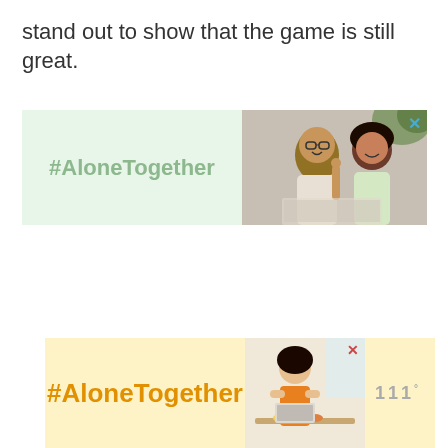stand out to show that the game is still great.
[Figure (infographic): Advertisement banner with green background showing '#AloneTogether' hashtag in green text on the left, and a photo of a man and child on the right with a close button (X) in the top-right corner.]
[Figure (infographic): Advertisement banner with yellow/amber background showing '#AloneTogether' hashtag in orange text on the left, a photo of a woman at a table in the center, a close button (X) in upper right area, and a logo/wordmark on the right.]